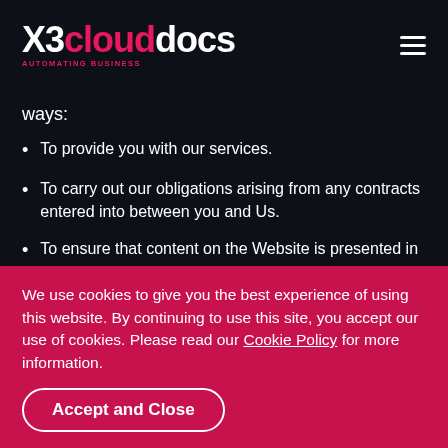X3clouddocs — AUTOMATING BUSINESS
ways:
To provide you with our services.
To carry out our obligations arising from any contracts entered into between you and Us.
To ensure that content on the Website is presented in the most effective manner for you and for the device(s) you use to access and view the Website.
We use cookies to give you the best experience of using this website. By continuing to use this site, you accept our use of cookies. Please read our Cookie Policy for more information.
Accept and Close